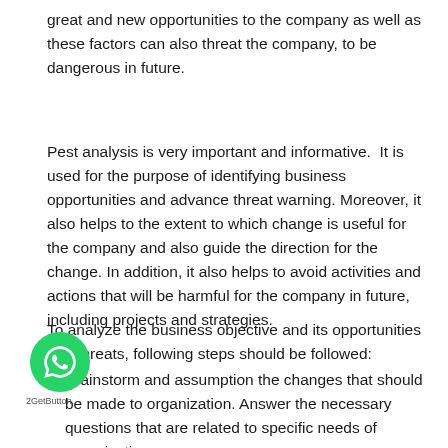great and new opportunities to the company as well as these factors can also threat the company, to be dangerous in future.
Pest analysis is very important and informative.  It is used for the purpose of identifying business opportunities and advance threat warning. Moreover, it also helps to the extent to which change is useful for the company and also guide the direction for the change. In addition, it also helps to avoid activities and actions that will be harmful for the company in future, including projects and strategies.
To analyze the business objective and its opportunities and threats, following steps should be followed:
Brainstorm and assumption the changes that should be made to organization. Answer the necessary questions that are related to specific needs of organization.